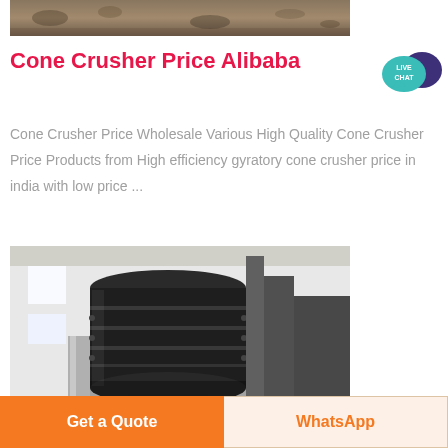[Figure (photo): Top partial image of crushed stone or mining site ground surface]
Cone Crusher Price Alibaba
[Figure (other): Live Chat bubble badge icon — teal speech bubble with dark purple speech bubble and text LIVE CHAT]
Cone Crusher Price Wholesale Various High Quality Cone Crusher Price Products from High efficiency gyratory cone crusher price in india with low price ...
[Figure (photo): Industrial cone crusher machine photographed from below, large black cylindrical metal crusher body in a white industrial building]
Get a Quote
WhatsApp